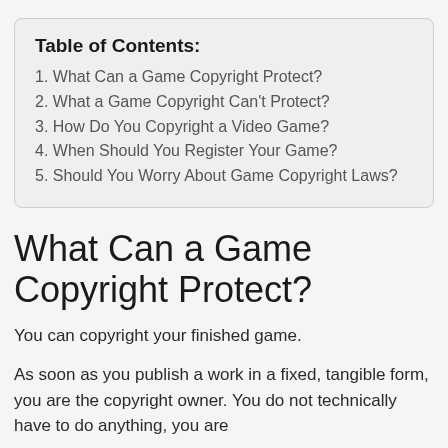| Table of Contents: |
| --- |
| 1. What Can a Game Copyright Protect? |
| 2. What a Game Copyright Can’t Protect? |
| 3. How Do You Copyright a Video Game? |
| 4. When Should You Register Your Game? |
| 5. Should You Worry About Game Copyright Laws? |
What Can a Game Copyright Protect?
You can copyright your finished game.
As soon as you publish a work in a fixed, tangible form, you are the copyright owner. You do not technically have to do anything, you are automatically granted copyright ownership.